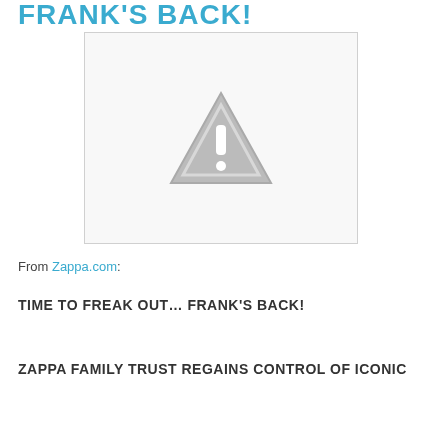FRANK'S BACK!
[Figure (illustration): Placeholder image with a gray warning triangle (exclamation mark) indicating a missing or unavailable image.]
From Zappa.com:
TIME TO FREAK OUT… FRANK'S BACK!
ZAPPA FAMILY TRUST REGAINS CONTROL OF ICONIC